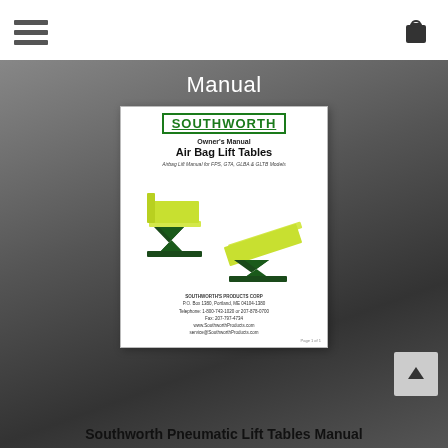Navigation menu and cart icon
Manual
[Figure (photo): Cover image of Southworth Owner's Manual for Air Bag Lift Tables, showing two yellow and dark green scissor lift tables, one upright and one tilted. Cover includes Southworth logo, title 'Owner's Manual Air Bag Lift Tables', subtitle 'Airbag Lift Manual for FPS, GTA, GLBA & GLTB Models', and Southworth Products Corp contact information at the bottom.]
Southworth Pneumatic Lift Tables Manual